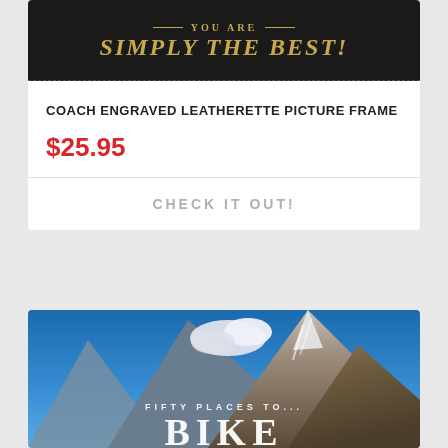[Figure (photo): Dark leatherette picture frame banner with gold text reading 'YOU ARE SIMPLY THE BEST!']
COACH ENGRAVED LEATHERETTE PICTURE FRAME
$25.95
CHECK IT OUT!
[Figure (photo): Mountain landscape with blue sky and snow-capped peaks. Text overlay reads 'FIFTY PLACES TO...' and 'BIKE' (partially visible)]